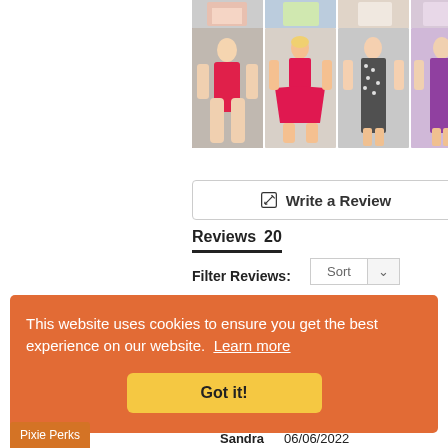[Figure (photo): Top strip of doll product photos (partially visible, cropped at top)]
[Figure (photo): Second row of doll product photos in pink/red and purple dresses]
✎  Write a Review
Reviews  20
Sort  ∨
Filter Reviews:
This website uses cookies to ensure you get the best experience on our website.  Learn more
Got it!
Pixie Perks
Sandra   06/06/2022